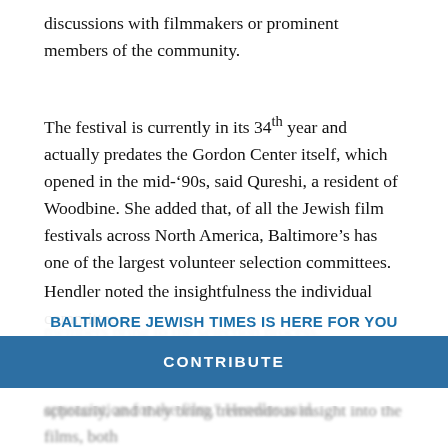discussions with filmmakers or prominent members of the community.
The festival is currently in its 34th year and actually predates the Gordon Center itself, which opened in the mid-’90s, said Qureshi, a resident of Woodbine. She added that, of all the Jewish film festivals across North America, Baltimore’s has one of the largest volunteer selection committees.
Hendler noted the insightfulness the individual committee members bring to the selection process.
BALTIMORE JEWISH TIMES IS HERE FOR YOU
Your voluntary contribution supports our efforts to deliver content that engages and helps strengthen the Jewish community in the greater Baltimore area.
CONTRIBUTE